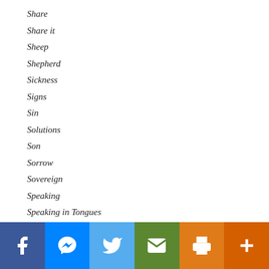Share
Share it
Sheep
Shepherd
Sickness
Signs
Sin
Solutions
Son
Sorrow
Sovereign
Speaking
Speaking in Tongues
Spirit
Spiritual